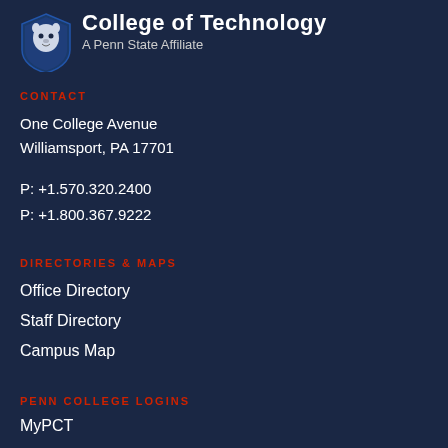[Figure (logo): Pennsylvania College of Technology lion shield logo in blue and white]
College of Technology
A Penn State Affiliate
CONTACT
One College Avenue
Williamsport, PA 17701
P: +1.570.320.2400
P: +1.800.367.9222
DIRECTORIES & MAPS
Office Directory
Staff Directory
Campus Map
PENN COLLEGE LOGINS
MyPCT